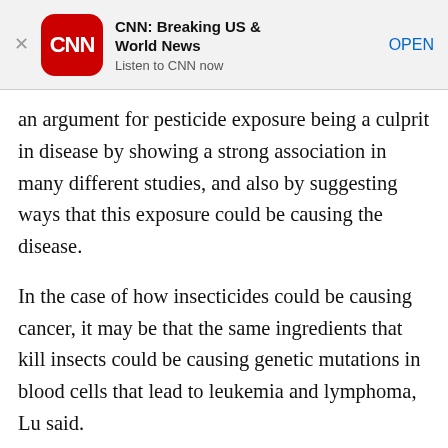[Figure (screenshot): CNN app advertisement banner with CNN logo, title 'CNN: Breaking US & World News', subtitle 'Listen to CNN now', and an OPEN button]
an argument for pesticide exposure being a culprit in disease by showing a strong association in many different studies, and also by suggesting ways that this exposure could be causing the disease.
In the case of how insecticides could be causing cancer, it may be that the same ingredients that kill insects could be causing genetic mutations in blood cells that lead to leukemia and lymphoma, Lu said.
“There are not many studies (and) we hope that by publishing this paper we will encourage more scientists to conduct more research,” Lu said.
In the meantime, parents can take precautions to